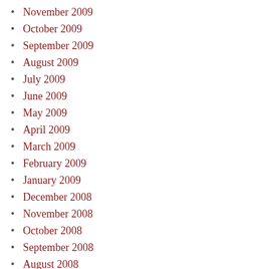November 2009
October 2009
September 2009
August 2009
July 2009
June 2009
May 2009
April 2009
March 2009
February 2009
January 2009
December 2008
November 2008
October 2008
September 2008
August 2008
July 2008
March 2008